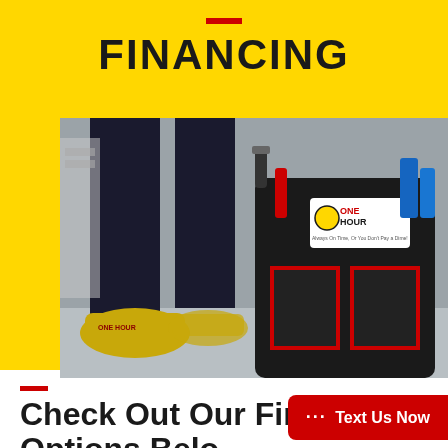FINANCING
[Figure (photo): Close-up photo of an HVAC technician's feet with yellow shoe covers branded 'One Hour', standing next to a large black tool bag with red trim and a 'One Hour Heating & Air Conditioning' logo patch. Tools visible inside the bag including blue handled pliers.]
Check Out Our Financing Options Belo...